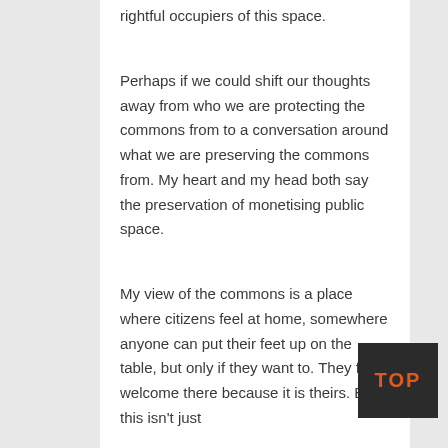rightful occupiers of this space.
Perhaps if we could shift our thoughts away from who we are protecting the commons from to a conversation around what we are preserving the commons from. My heart and my head both say the preservation of monetising public space.
My view of the commons is a place where citizens feel at home, somewhere anyone can put their feet up on the table, but only if they want to. They feel welcome there because it is theirs. But this isn't just